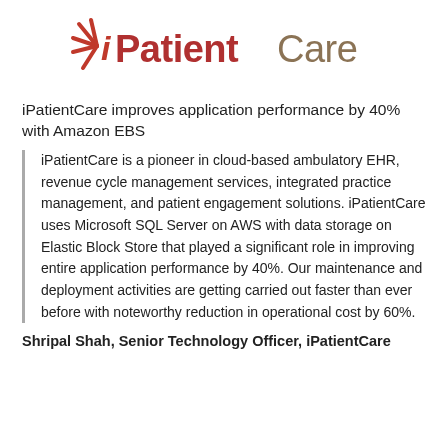[Figure (logo): iPatientCare logo with red starburst/rays icon and text 'iPatientCare' in dark red and tan/brown colors]
iPatientCare improves application performance by 40% with Amazon EBS
iPatientCare is a pioneer in cloud-based ambulatory EHR, revenue cycle management services, integrated practice management, and patient engagement solutions. iPatientCare uses Microsoft SQL Server on AWS with data storage on Elastic Block Store that played a significant role in improving entire application performance by 40%. Our maintenance and deployment activities are getting carried out faster than ever before with noteworthy reduction in operational cost by 60%.
Shripal Shah, Senior Technology Officer, iPatientCare